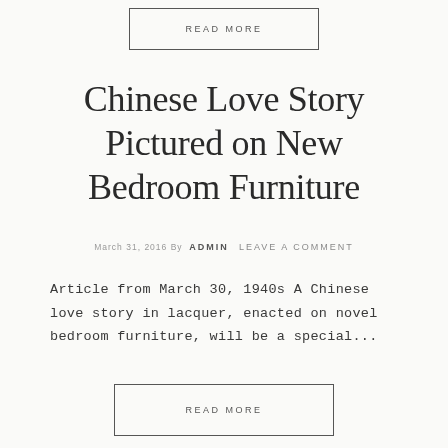READ MORE
Chinese Love Story Pictured on New Bedroom Furniture
March 31, 2016 By ADMIN   LEAVE A COMMENT
Article from March 30, 1940s A Chinese love story in lacquer, enacted on novel bedroom furniture, will be a special...
READ MORE